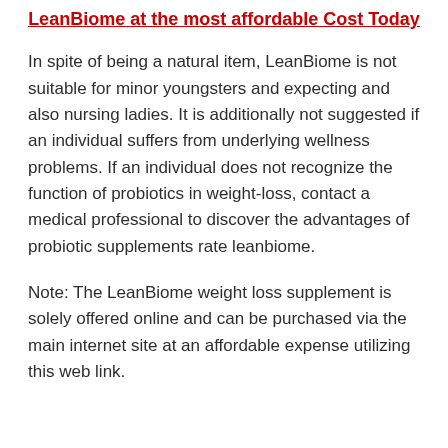LeanBiome at the most affordable Cost Today
In spite of being a natural item, LeanBiome is not suitable for minor youngsters and expecting and also nursing ladies. It is additionally not suggested if an individual suffers from underlying wellness problems. If an individual does not recognize the function of probiotics in weight-loss, contact a medical professional to discover the advantages of probiotic supplements rate leanbiome.
Note: The LeanBiome weight loss supplement is solely offered online and can be purchased via the main internet site at an affordable expense utilizing this web link.